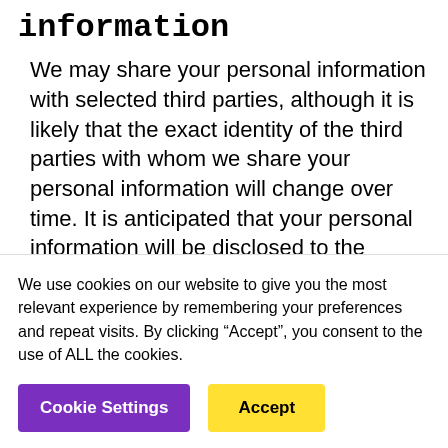information
We may share your personal information with selected third parties, although it is likely that the exact identity of the third parties with whom we share your personal information will change over time. It is anticipated that your personal information will be disclosed to the following categories of third parties:
We use cookies on our website to give you the most relevant experience by remembering your preferences and repeat visits. By clicking “Accept”, you consent to the use of ALL the cookies.